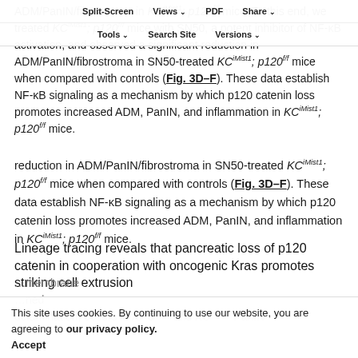ADM/PanIN/fibrostroma in KCiMist1; p120f/f mice. To this end, we treated KCiMist1; p120f/f mice with SN50, a potent inhibitor of NF-κB activation, and observed a significant reduction in ADM/PanIN/fibrostroma in SN50-treated KCiMist1; p120f/f mice when compared with controls (Fig. 3D–F). These data establish NF-κB signaling as a mechanism by which p120 catenin loss promotes increased ADM, PanIN, and inflammation in KCiMist1; p120f/f mice.
Split-Screen | Views | PDF | Share | Tools | Search Site | Versions
Lineage tracing reveals that pancreatic loss of p120 catenin in cooperation with oncogenic Kras promotes striking cell extrusion
This site uses cookies. By continuing to use our website, you are agreeing to our privacy policy. Accept
membrane delamination, occurs in KPCPdlY and KCiMistY PanIN